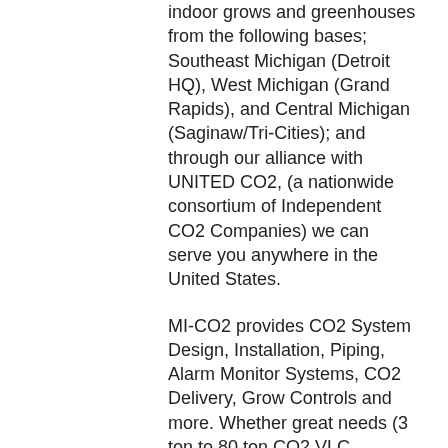indoor grows and greenhouses from the following bases; Southeast Michigan (Detroit HQ), West Michigan (Grand Rapids), and Central Michigan (Saginaw/Tri-Cities); and through our alliance with UNITED CO2, (a nationwide consortium of Independent CO2 Companies) we can serve you anywhere in the United States.
MI-CO2 provides CO2 System Design, Installation, Piping, Alarm Monitor Systems, CO2 Delivery, Grow Controls and more. Whether great needs (3 ton to 80 ton CO2 VLC receivers), medium needs (300 lb to 750 lb bulk CO2 tanks) or small needs (20 lb or 50 lb cylinders), our Detroit grow room CO2 tank and regulator installation experts can help achieve your goals of consistently higher yields at the best possible price.
MI-CO2 is a safety first company and we offer CO2 alarms/monitoring solutions to